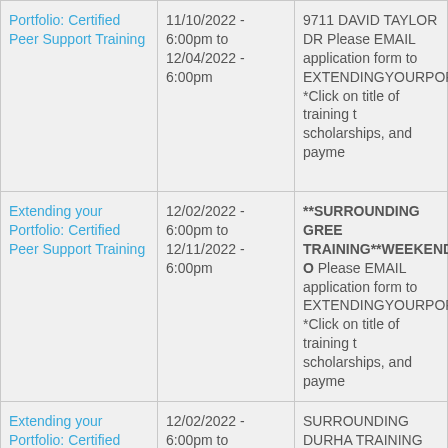| Training | Date/Time | Details |
| --- | --- | --- |
| Portfolio: Certified Peer Support Training | 11/10/2022 - 6:00pm to 12/04/2022 - 6:00pm | 9711 DAVID TAYLOR DR Please EMAIL application form to EXTENDINGYOURPORT *Click on title of training t scholarships, and payme |
| Extending your Portfolio: Certified Peer Support Training | 12/02/2022 - 6:00pm to 12/11/2022 - 6:00pm | **SURROUNDING GREE TRAINING**WEEKEND O Please EMAIL application form to EXTENDINGYOURPORT *Click on title of training t scholarships, and payme |
| Extending your Portfolio: Certified | 12/02/2022 - 6:00pm to 12/11/2022 | SURROUNDING DURHA TRAINING SCHOLARSHIPS AVAILAB |